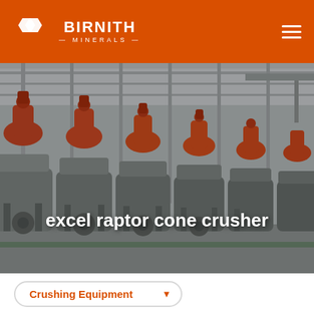BIRNITH MINERALS
[Figure (photo): Industrial factory floor with rows of large red and grey cone crushers lined up in a manufacturing facility]
excel raptor cone crusher
Crushing Equipment